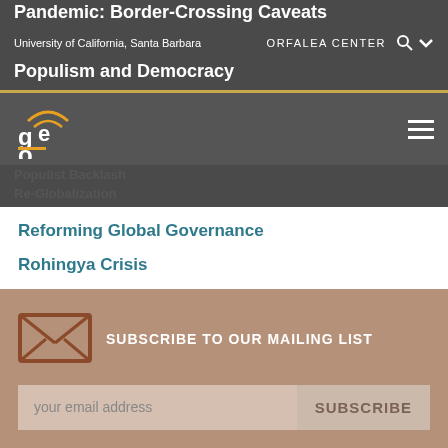Pandemic: Border-Crossing Caveats
University of California, Santa Barbara | ORFALEA CENTER
Populism and Democracy
Populist Backlash
Re-Globalization
Reforming Global Governance
Rohingya Crisis
Tourism & Development in Africa
SUBSCRIBE TO OUR MAILING LIST
your email address | SUBSCRIBE